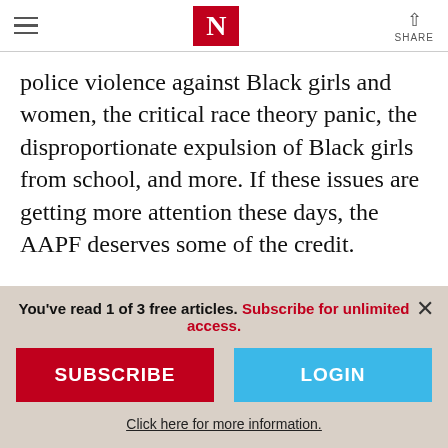The Nation — navigation header with hamburger menu, N logo, and share button
police violence against Black girls and women, the critical race theory panic, the disproportionate expulsion of Black girls from school, and more. If these issues are getting more attention these days, the AAPF deserves some of the credit.
11. Give Directly. What if there was a way to
You've read 1 of 3 free articles. Subscribe for unlimited access.
SUBSCRIBE
LOGIN
Click here for more information.